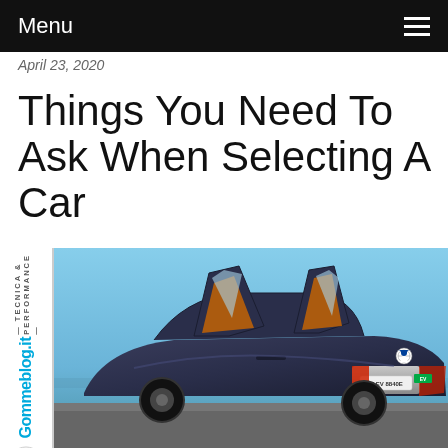Menu
April 23, 2020
Things You Need To Ask When Selecting A Car
[Figure (photo): BMW i8 Roadster sports car with scissor doors open, dark blue/grey color with orange interior accents, license plate M EV 8840E, watermarked with Gommeblog.it logo]